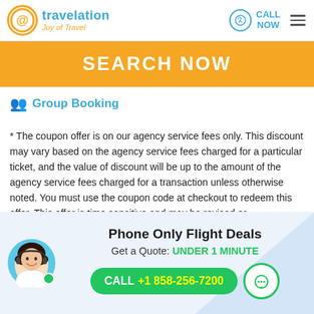travelation Joy of Travel | CALL NOW
SEARCH NOW
Group Booking
* The coupon offer is on our agency service fees only. This discount may vary based on the agency service fees charged for a particular ticket, and the value of discount will be up to the amount of the agency service fees charged for a transaction unless otherwise noted. You must use the coupon code at checkout to redeem this offer. This offer is time sensitive and may be revised or discontinued without notice. Prices are quoted in US Dollars. Fares quoted are valid for round trip airfare, including taxes and fees. Prices advertised are valid at the time of booking availability from our various fare partners with more...
Phone Only Flight Deals
Get a Quote: UNDER 1 MINUTE
CALL +1 858-256-7200